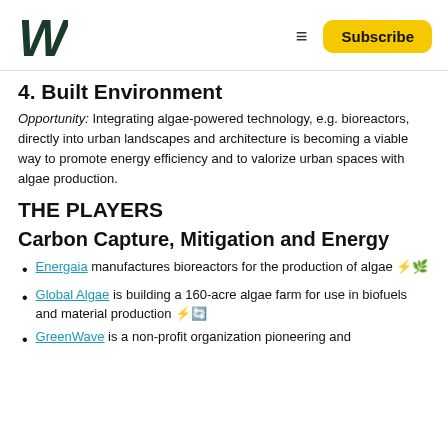[Logo] ≡ Subscribe
4. Built Environment
Opportunity: Integrating algae-powered technology, e.g. bioreactors, directly into urban landscapes and architecture is becoming a viable way to promote energy efficiency and to valorize urban spaces with algae production.
THE PLAYERS
Carbon Capture, Mitigation and Energy
Energaia manufactures bioreactors for the production of algae ⚡🌿
Global Algae is building a 160-acre algae farm for use in biofuels and material production ⚡🔄
GreenWave is a non-profit organization pioneering and